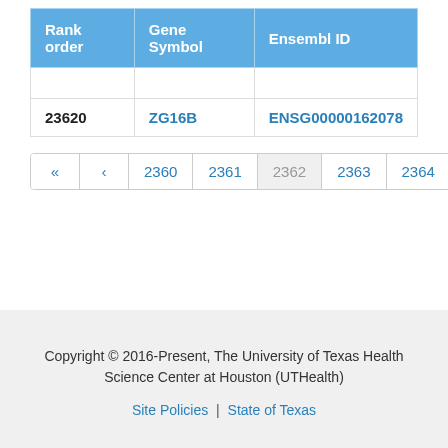| Rank order | Gene Symbol | Ensembl ID |
| --- | --- | --- |
|  |  |  |
| 23620 | ZG16B | ENSG00000162078 |
« ‹ 2360 2361 2362 2363 2364 › »
Copyright © 2016-Present, The University of Texas Health Science Center at Houston (UTHealth)
Site Policies | State of Texas